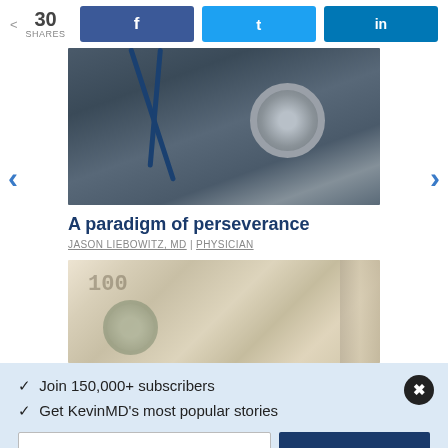30 SHARES | Facebook | Twitter | LinkedIn
[Figure (photo): Close-up photo of a blue stethoscope on a dark surface]
A paradigm of perseverance
JASON LIEBOWITZ, MD | PHYSICIAN
[Figure (photo): Stack of US $100 bills fanned out]
✓  Join 150,000+ subscribers
✓  Get KevinMD's most popular stories
Email  [input]  Subscribe. It's free.